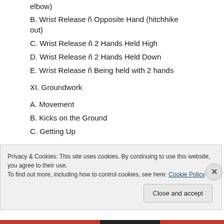elbow)
B. Wrist Release ñ Opposite Hand (hitchhike out)
C. Wrist Release ñ 2 Hands Held High
D. Wrist Release ñ 2 Hands Held Down
E. Wrist Release ñ Being held with 2 hands
XI. Groundwork
A. Movement
B. Kicks on the Ground
C. Getting Up
Privacy & Cookies: This site uses cookies. By continuing to use this website, you agree to their use.
To find out more, including how to control cookies, see here: Cookie Policy